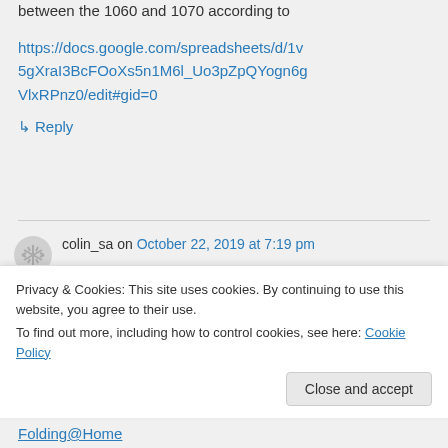between the 1060 and 1070 according to
https://docs.google.com/spreadsheets/d/1v5gXraI3BcFOoXs5n1M6l_Uo3pZpQYogn6gVlxRPnz0/edit#gid=0
↳ Reply
colin_sa on October 22, 2019 at 7:19 pm
My mistake, 1080 is superior
Privacy & Cookies: This site uses cookies. By continuing to use this website, you agree to their use.
To find out more, including how to control cookies, see here: Cookie Policy
Close and accept
Folding@Home